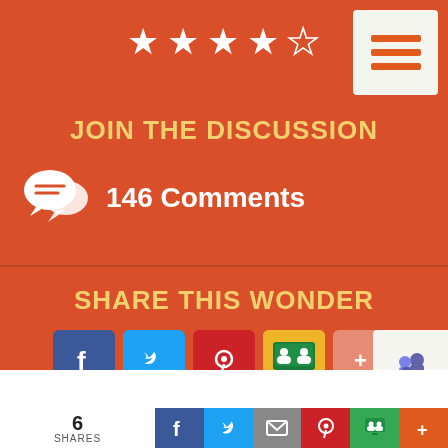[Figure (screenshot): Star rating: 4 out of 5 stars]
[Figure (screenshot): Hamburger menu button with orange lines on light background]
JOIN THE DISCUSSION
146 Comments
SHARE THIS WONDER
[Figure (screenshot): Social share buttons: Facebook, Twitter, Pinterest, Google Classroom, More]
[Figure (screenshot): Microsoft Teams button]
6 SHARES
[Figure (screenshot): Bottom share bar: Facebook, Twitter, Email, Pinterest, Google Classroom, More]